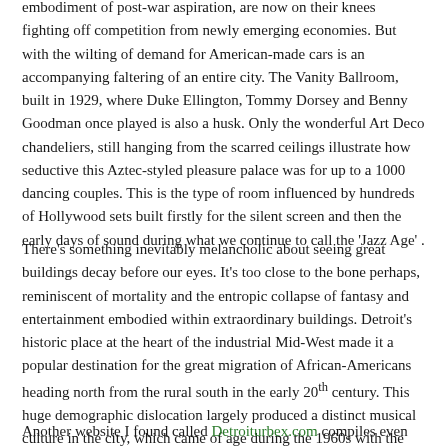embodiment of post-war aspiration, are now on their knees fighting off competition from newly emerging economies. But with the wilting of demand for American-made cars is an accompanying faltering of an entire city. The Vanity Ballroom, built in 1929, where Duke Ellington, Tommy Dorsey and Benny Goodman once played is also a husk. Only the wonderful Art Deco chandeliers, still hanging from the scarred ceilings illustrate how seductive this Aztec-styled pleasure palace was for up to a 1000 dancing couples. This is the type of room influenced by hundreds of Hollywood sets built firstly for the silent screen and then the early days of sound during what we continue to call the 'Jazz Age' .
There's something inevitably melancholic about seeing great buildings decay before our eyes. It's too close to the bone perhaps, reminiscent of mortality and the entropic collapse of fantasy and entertainment embodied within extraordinary buildings. Detroit's historic place at the heart of the industrial Mid-West made it a popular destination for the great migration of African-Americans heading north from the rural south in the early 20th century. This huge demographic dislocation largely produced a distinct musical culture in the city, which came of age during the 1960s with the emergence of the Motown sound.
Another website I found called Detroiturbex.com compiles even more